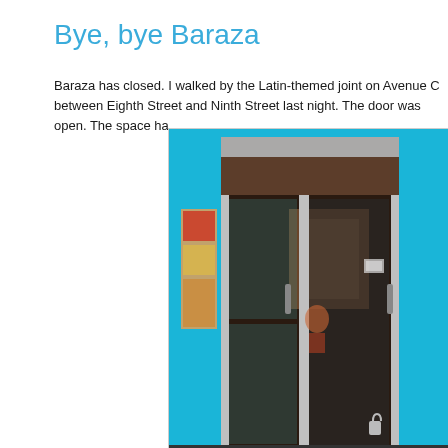Bye, bye Baraza
Baraza has closed. I walked by the Latin-themed joint on Avenue C between Eighth Street and Ninth Street last night. The door was open. The space ha
[Figure (photo): Photograph of the front entrance of Baraza restaurant, showing bright cyan/turquoise painted door frames and glass doors, with the interior visible and some boxes inside indicating the space has been cleared out.]